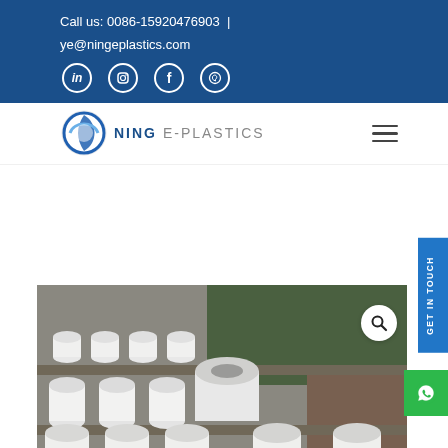Call us: 0086-15920476903 | ye@ningeplastics.com
[Figure (logo): Ning E-Plastics logo with blue circular icon and text 'NING E-PLASTICS']
[Figure (photo): Photo of multiple white PTFE/plastic cylindrical rods and hollow tubes arranged on trays in a factory setting]